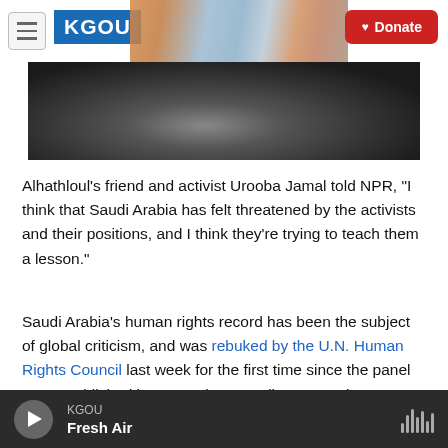KGOU — Donate
[Figure (photo): Close-up photograph of dark motorcycle or vehicle seat/handlebars]
Alhathloul's friend and activist Urooba Jamal told NPR, "I think that Saudi Arabia has felt threatened by the activists and their positions, and I think they're trying to teach them a lesson."
Saudi Arabia's human rights record has been the subject of global criticism, and was rebuked by the U.N. Human Rights Council last week for the first time since the panel was established in 2006. The council's 36 member states signed on to the
KGOU — Fresh Air